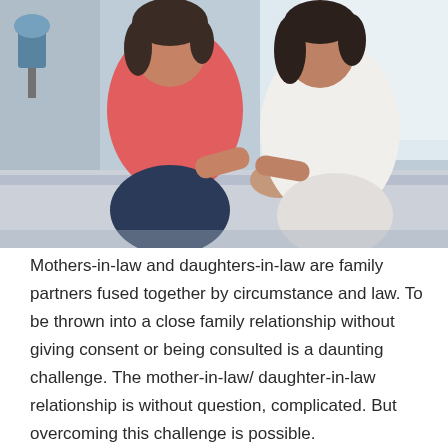[Figure (photo): Two women sitting on a bed facing each other and holding hands. The woman on the left wears a red/coral top and dark jeans; the woman on the right wears a white top. Bedroom setting with a lamp and window in the background.]
Mothers-in-law and daughters-in-law are family partners fused together by circumstance and law. To be thrown into a close family relationship without giving consent or being consulted is a daunting challenge. The mother-in-law/ daughter-in-law relationship is without question, complicated. But overcoming this challenge is possible.